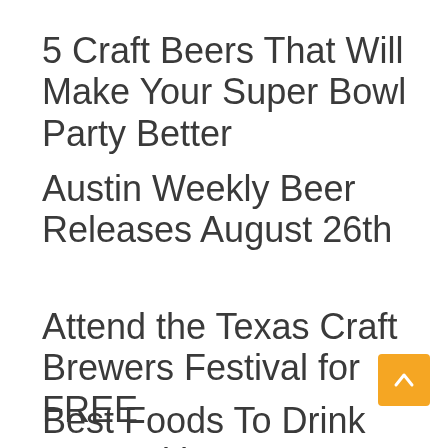5 Craft Beers That Will Make Your Super Bowl Party Better
Austin Weekly Beer Releases August 26th
Attend the Texas Craft Brewers Festival for FREE
Best Foods To Drink Beer With